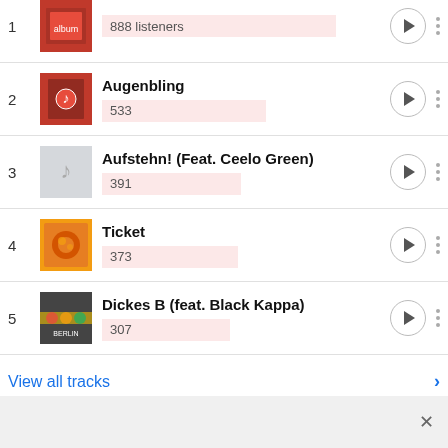1 — 888 listeners
2 Augenbling — 533
3 Aufstehn! (Feat. Ceelo Green) — 391
4 Ticket — 373
5 Dickes B (feat. Black Kappa) — 307
View all tracks